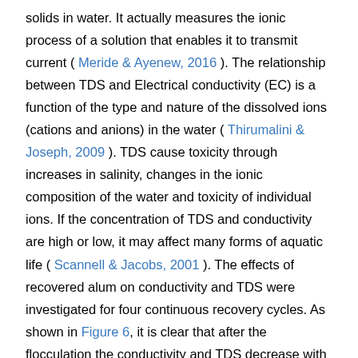solids in water. It actually measures the ionic process of a solution that enables it to transmit current ( Meride & Ayenew, 2016 ). The relationship between TDS and Electrical conductivity (EC) is a function of the type and nature of the dissolved ions (cations and anions) in the water ( Thirumalini & Joseph, 2009 ). TDS cause toxicity through increases in salinity, changes in the ionic composition of the water and toxicity of individual ions. If the concentration of TDS and conductivity are high or low, it may affect many forms of aquatic life ( Scannell & Jacobs, 2001 ). The effects of recovered alum on conductivity and TDS were investigated for four continuous recovery cycles. As shown in Figure 6, it is clear that after the flocculation the conductivity and TDS decrease with the increase of flocculants. when the flocculants increase from 10 mL to 50 mL the TDS and conductivity decrease from 127.6 mg/L to 125 mg/L (Figure 6(a)) and 256.8 μs/cm to 255 μs/cm (Figure 6(b)) respectively, But the conductivity and TDS were increasing